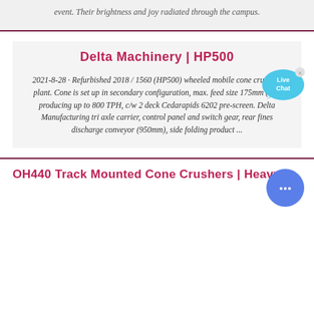event. Their brightness and joy radiated through the campus.
Delta Machinery | HP500
2021-8-28 · Refurbished 2018 / 1560 (HP500) wheeled mobile cone crushing plant. Cone is set up in secondary configuration, max. feed size 175mm (7"), producing up to 800 TPH, c/w 2 deck Cedarapids 6202 pre-screen. Delta Manufacturing tri axle carrier, control panel and switch gear, rear fines discharge conveyor (950mm), side folding product ...
OH440 Track Mounted Cone Crushers | Heavy ...